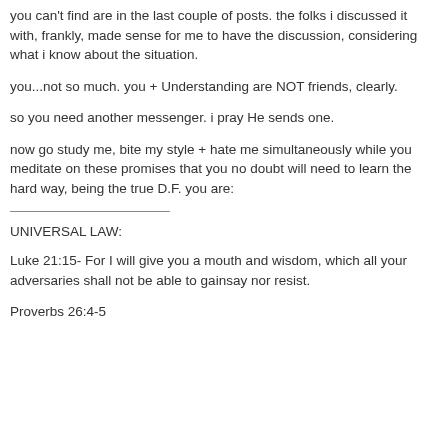you can't find are in the last couple of posts. the folks i discussed it with, frankly, made sense for me to have the discussion, considering what i know about the situation.
you...not so much. you + Understanding are NOT friends, clearly.
so you need another messenger. i pray He sends one.
now go study me, bite my style + hate me simultaneously while you meditate on these promises that you no doubt will need to learn the hard way, being the true D.F. you are:
UNIVERSAL LAW:
Luke 21:15- For I will give you a mouth and wisdom, which all your adversaries shall not be able to gainsay nor resist.
Proverbs 26:4-5